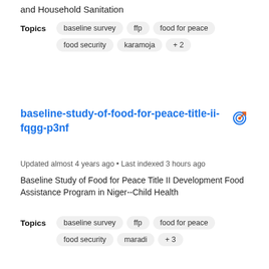and Household Sanitation
Topics   baseline survey   ffp   food for peace   food security   karamoja   + 2
baseline-study-of-food-for-peace-title-ii-fqgg-p3nf
Updated almost 4 years ago • Last indexed 3 hours ago
Baseline Study of Food for Peace Title II Development Food Assistance Program in Niger--Child Health
Topics   baseline survey   ffp   food for peace   food security   maradi   + 3